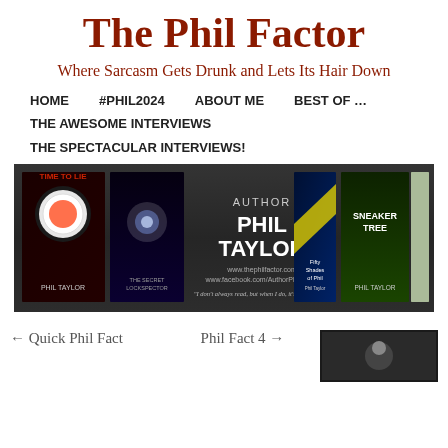The Phil Factor
Where Sarcasm Gets Drunk and Lets Its Hair Down
HOME
#PHIL2024
ABOUT ME
BEST OF …
THE AWESOME INTERVIEWS
THE SPECTACULAR INTERVIEWS!
[Figure (photo): Author Phil Taylor promotional banner showing multiple book covers including 'Time to Lie', 'The Secret Lockspector', 'Sneaker Tree', 'Fifty Shades of Phil', and a house cover. Text reads AUTHOR PHIL TAYLOR, www.thephilfactor.com, www.facebook.com/AuthorPhilTaylor, 'I don't always read, but when I do, it's Phil Taylor.']
← Quick Phil Fact
Phil Fact 4 →